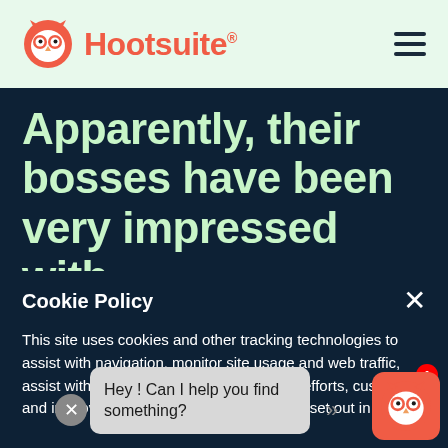Hootsuite
Apparently, their bosses have been very impressed with
Cookie Policy
This site uses cookies and other tracking technologies to assist with navigation, monitor site usage and web traffic, assist with our promotional and marketing efforts, customize and improve our services and websites, as set out in our Pr...
Hey ! Can I help you find something?